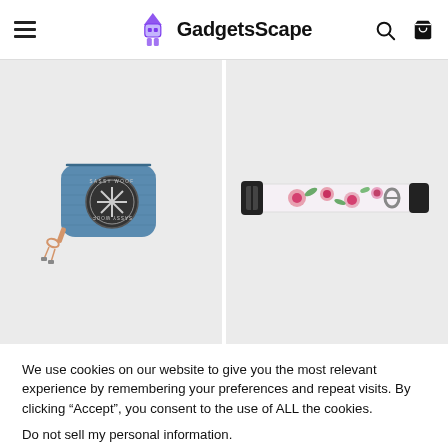GadgetsScape
[Figure (photo): Blue denim dog poop bag holder with a circular black logo patch reading 'Sassy Woof' and a rose gold keychain clip]
[Figure (photo): White floral dog collar with pink roses and black plastic buckle clasp and metal D-ring]
We use cookies on our website to give you the most relevant experience by remembering your preferences and repeat visits. By clicking "Accept", you consent to the use of ALL the cookies.
Do not sell my personal information.
Cookie settings
ACCEPT